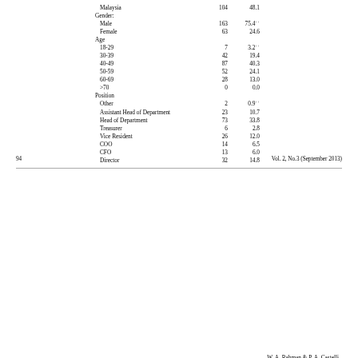|  | N | % |
| --- | --- | --- |
| Malaysia | 104 | 48.1 |
| Gender: |  |  |
| Male | 163 | 75.4++ |
| Female | 53 | 24.6 |
| Age |  |  |
| 18-29 | 7 | 3.2++ |
| 30-39 | 42 | 19.4 |
| 40-49 | 87 | 40.3 |
| 50-59 | 52 | 24.1 |
| 60-69 | 28 | 13.0 |
| >70 | 0 | 0.0 |
| Position |  |  |
| Other | 2 | 0.9++ |
| Assistant Head of Department | 23 | 10.7 |
| Head of Department | 73 | 33.8 |
| Treasurer | 6 | 2.8 |
| Vice Resident | 26 | 12.0 |
| COO | 14 | 6.5 |
| CFO | 13 | 6.0 |
| Director | 32 | 14.8 |
94                                                    Vol. 2, No.3 (September 2013)
W. A. Rahman & P. A. Castelli
|  | N | % |
| --- | --- | --- |
| CEO | 20 | 9.3 |
| President | 7 | 3.2 |
Note. Sample frequency is expressed as % of all participants; N = 216.
++ p < .01 Chi-square test for equality of distribution.
Table 2 - Psychometric properties of empathy items
| Items | Grand Mean* | SD | Comp. Mean* | SD | Original Alpha | Factor* |
| --- | --- | --- | --- | --- | --- | --- |
| Empathy Full Scale (14 items) | 3.14 | .99 | 43.93 | 9.23 | .852 |  |
| Empathic Concern (7 items) | 2.84 | .74 | 20.63 | 5.18 | .760 | .972 |
| Have tender, concerned feelings |  |  | 3.60 | 1.06 |  | .708 |
| Does not feel sorry for others |  |  | 2.07 | 1.18 |  | .111** |
| Feel protective of victims |  |  | 3.63 | 1.07 |  | .706 |
| Other's misfortunes are not disturbing |  |  | 2.20 | 1.25 |  | .133** |
| Feel no pity for those treated unfairly |  |  | 2.09 | 1.37 |  | .370 |